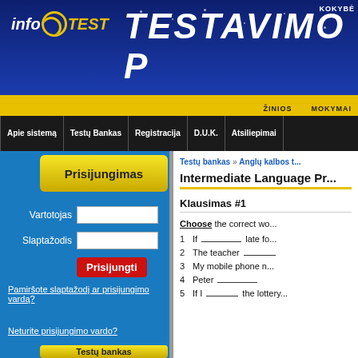[Figure (screenshot): InfoTEST website header banner with logo and title TESTAVIMO P...]
KOKYBĖ | ŽINIOS | MOKYMAI
Apie sistemą | Testų Bankas | Registracija | D.U.K. | Atsiliepimai
Prisijungimas
Vartotojas
Slaptažodis
Prisijungti
Pamiršote slaptažodį ar prisijungimo vardą?
Neturite prisijungimo vardo?
Testų bankas
Testų bankas » Anglų kalbos t...
Intermediate Language Pr...
Klausimas #1
Choose the correct wo...
1   If ________ late fo...
2   The teacher ________
3   My mobile phone n...
4   Peter ________
5   If I ________ the lottery...